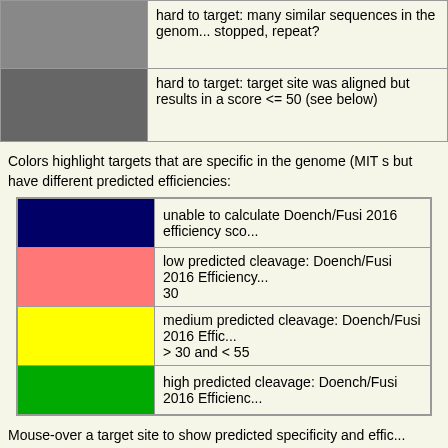| [mid-gray] | hard to target: many similar sequences in the genome, stopped, repeat? |
| [dark-gray] | hard to target: target site was aligned but results in a score <= 50 (see below) |
Colors highlight targets that are specific in the genome (MIT s... but have different predicted efficiencies:
| [navy] | unable to calculate Doench/Fusi 2016 efficiency sco... |
| [salmon] | low predicted cleavage: Doench/Fusi 2016 Efficiency... 30 |
| [yellow] | medium predicted cleavage: Doench/Fusi 2016 Effic... > 30 and < 55 |
| [green] | high predicted cleavage: Doench/Fusi 2016 Efficienc... |
Mouse-over a target site to show predicted specificity and effic...
The MIT Specificity score summarizes all off-targets into a score from 0-100. The higher the number, the fewer off-target e... expected. We recommend guides with an MIT specificity...